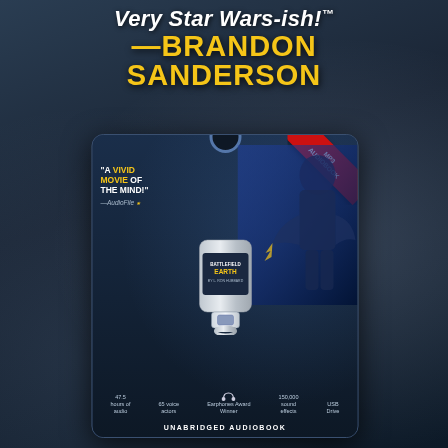Very Star Wars-ish!™
—BRANDON SANDERSON
[Figure (photo): Product photo of Battlefield Earth MP3 Audiobook USB drive in blister packaging. The packaging shows dramatic sci-fi artwork with a warrior figure, the text 'A VIVID MOVIE OF THE MIND!' in white and yellow, attributed to AudioFile. A silver USB drive labeled 'BATTLEFIELD EARTH BY L. RON HUBBARD' is shown. Bottom of the card lists features: 47.5 hours of audio, 65 voice actors, 150,000 sound effects, USB Drive, Earphones Award Winner. 'UNABRIDGED AUDIOBOOK' text at bottom. Red corner badge says 'MP3 AUDIOBOOK'.]